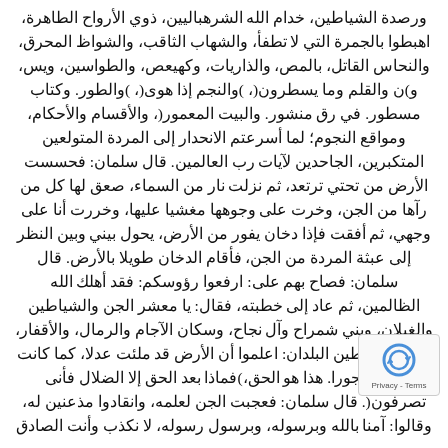ورصدة الشياطين، خدام الله الشرهباليين، ذوي الأرواح الطاهرة، اهبطوا بالجمرة التي لا تطفأ، والشهاب الثاقب، والشواظ المحرق، والنحاس القاتل، بالمص، والذاريات، وكهيعص، والطواسين، ويس، و)ن والقلم وما يسطرون(، )والنجم إذا هوى(، )والطور. وكتاب مسطور. في رق منشور. والبيت المعمور(، والأقسام والأحكام، ومواقع النجوم؛ لما أسرعتم الانحدار إلى المردة المتولعين المتكبرين، الجاحدين لآيات رب العالمين. قال سلمان: فحسست الأرض من تحتي ترتعد، ثم نزلت نار من السماء، صعق لها كل من رآها من الجن، وخرت على وجوهها مغشيا عليها، وخررت أنا على وجهي، ثم أفقت فإذا دخان يفور من الأرض، يحول بيني وبين النظر إلى عبثة المردة من الجن، فأقام الدخان طويلا بالأرض. قال سلمان: فصاح بهم على: ارفعوا رؤوسكم: فقد أهلك الله الظالمين، ثم عاد إلى خطبته، فقال: يا معشر الجن والشياطين والغيلان، وبني شمراح وآل نجاح، وسكان الآجام والرمال، والأقفار، وجميع شياطين البلدان: اعلموا أن الأرض قد ملئت عدلا، كما كانت ملوءة جورا. هذا هو الحق،)فماذا بعد الحق إلا الضلال فأنى تصرفون(. قال سلمان: فعجبت الجن لعلمه، وانقادوا مذعنين له، وقالوا: آمنا بالله وبرسوله، وبرسول رسوله، لا نكذب وأنت الصادق